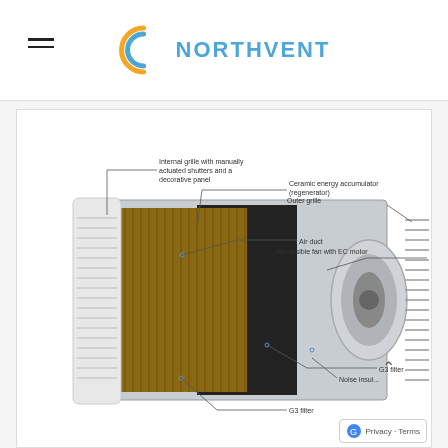NORTHVENT
[Figure (engineering-diagram): Cross-sectional cutaway diagram of a Northvent decentralized heat recovery ventilation unit, showing labeled components: Internal grille with manually actuated shutters and a decorative panel, Ceramic energy accumulator (regenerator), Air duct, Reversible fan with EC motor, Outer grille, G3 filter (x2), Noise insulation.]